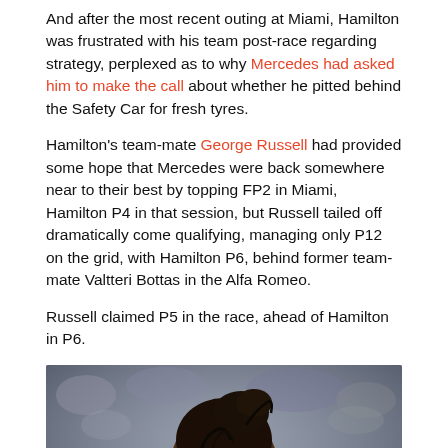And after the most recent outing at Miami, Hamilton was frustrated with his team post-race regarding strategy, perplexed as to why Mercedes had asked him to make the call about whether he pitted behind the Safety Car for fresh tyres.
Hamilton's team-mate George Russell had provided some hope that Mercedes were back somewhere near to their best by topping FP2 in Miami, Hamilton P4 in that session, but Russell tailed off dramatically come qualifying, managing only P12 on the grid, with Hamilton P6, behind former team-mate Valtteri Bottas in the Alfa Romeo.
Russell claimed P5 in the race, ahead of Hamilton in P6.
[Figure (photo): Close-up photo of Lewis Hamilton with braided hair pulled up, head bowed, wearing dark clothing, blurred crowd in background. A red notification button with badge number 36 is overlaid in the bottom-right corner.]